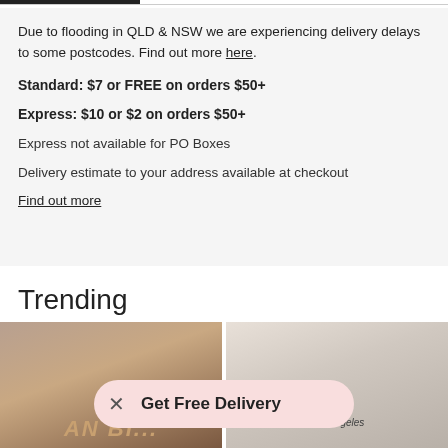Due to flooding in QLD & NSW we are experiencing delivery delays to some postcodes. Find out more here.
Standard: $7 or FREE on orders $50+
Express: $10 or $2 on orders $50+
Express not available for PO Boxes
Delivery estimate to your address available at checkout
Find out more
Trending
[Figure (photo): Two fashion model photos side by side. Left: woman with curly dark hair. Right: woman in white t-shirt and dark cap.]
Get Free Delivery